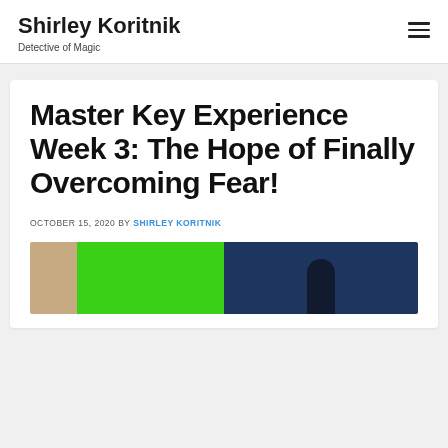Shirley Koritnik — Detective of Magic
Master Key Experience Week 3: The Hope of Finally Overcoming Fear!
OCTOBER 15, 2020 BY SHIRLEY KORITNIK
[Figure (photo): Partial photo showing a green and dark blue background with a silhouetted figure, partially visible at bottom of page.]